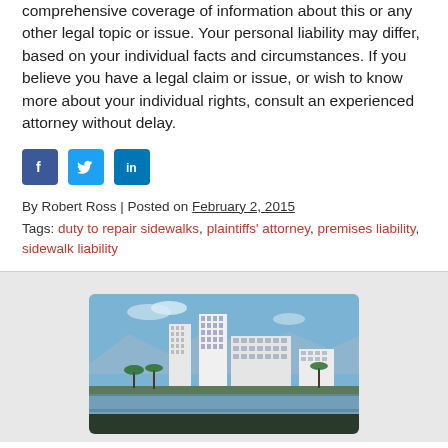comprehensive coverage of information about this or any other legal topic or issue. Your personal liability may differ, based on your individual facts and circumstances. If you believe you have a legal claim or issue, or wish to know more about your individual rights, consult an experienced attorney without delay.
[Figure (infographic): Social media sharing icons: Facebook (blue square with f), Twitter (light blue square with bird), LinkedIn (blue square with in)]
By Robert Ross | Posted on February 2, 2015
Tags: duty to repair sidewalks, plaintiffs' attorney, premises liability, sidewalk liability
[Figure (photo): Photograph of a coastal city skyline with tall white office/hotel buildings, palm trees in the foreground, mountains and blue sky in the background]